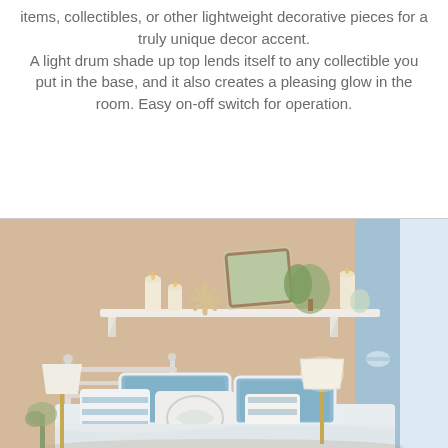items, collectibles, or other lightweight decorative pieces for a truly unique decor accent. A light drum shade up top lends itself to any collectible you put in the base, and it also creates a pleasing glow in the room. Easy on-off switch for operation.
[Figure (photo): A styled bedroom scene with a white iron bed frame, blue and white bedding with decorative pillows, a white wall shelf with candles, a framed artwork and decorative starfish, a table lamp on the right side, and blue curtains near a bright window.]